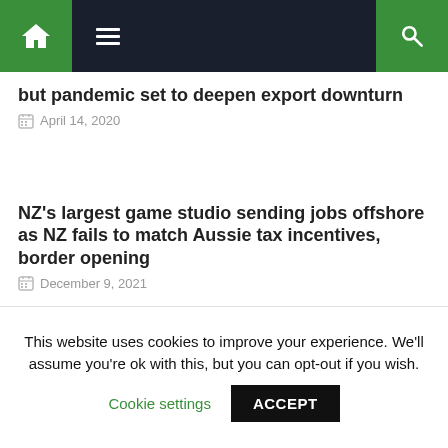Navigation bar with home, menu, and search icons
but pandemic set to deepen export downturn
April 14, 2020
NZ's largest game studio sending jobs offshore as NZ fails to match Aussie tax incentives, border opening
December 9, 2021
This website uses cookies to improve your experience. We'll assume you're ok with this, but you can opt-out if you wish. Cookie settings ACCEPT